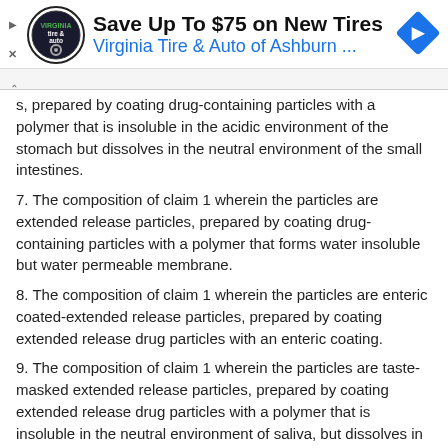[Figure (other): Advertisement banner: Save Up To $75 on New Tires - Virginia Tire & Auto of Ashburn ...]
s, prepared by coating drug-containing particles with a polymer that is insoluble in the acidic environment of the stomach but dissolves in the neutral environment of the small intestines.
7. The composition of claim 1 wherein the particles are extended release particles, prepared by coating drug-containing particles with a polymer that forms water insoluble but water permeable membrane.
8. The composition of claim 1 wherein the particles are enteric coated-extended release particles, prepared by coating extended release drug particles with an enteric coating.
9. The composition of claim 1 wherein the particles are taste-masked extended release particles, prepared by coating extended release drug particles with a polymer that is insoluble in the neutral environment of saliva, but dissolves in the acid environment of the stomach.
10. The composition of claim 1 wherein the particles are delayed release